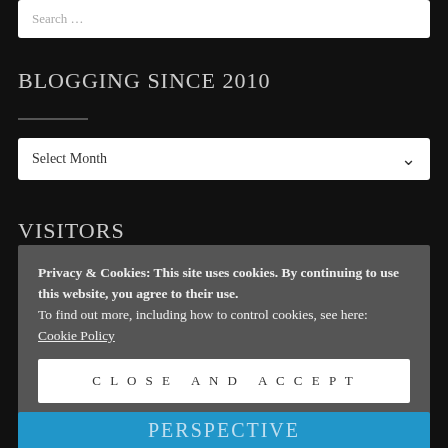Search …
BLOGGING SINCE 2010
Select Month
VISITORS
Privacy & Cookies: This site uses cookies. By continuing to use this website, you agree to their use. To find out more, including how to control cookies, see here: Cookie Policy
CLOSE AND ACCEPT
PERSPECTIVE